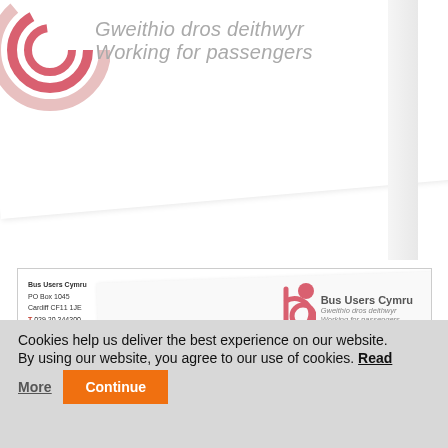[Figure (illustration): Bus Users Cymru letterhead/logo showing partial circles in pink/red and text 'Gweithio dros deithwyr / Working for passengers' on a tilted white card background]
[Figure (illustration): Bus Users Cymru business card showing address (Bus Users Cymru, PO Box 1045, Cardiff CF11 1JE, T 029 20 344300, E Wales@bususers.org, W www.bususers.org/wales) on left and logo with 'Bus Users Cymru / Gweithio dros deithwyr / Working for passengers' on right]
We are proud to announce that Llew Jones Coaches have
Cookies help us deliver the best experience on our website. By using our website, you agree to our use of cookies. Read More